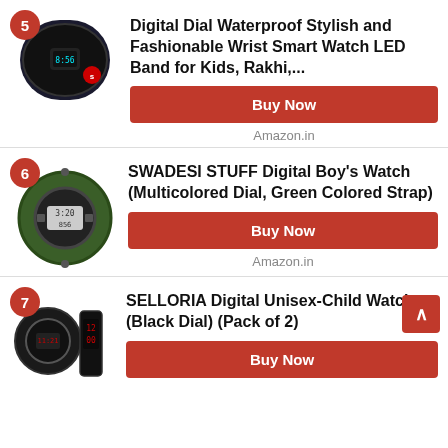[Figure (photo): Black kids smart wristband LED watch with Spiderman character]
Digital Dial Waterproof Stylish and Fashionable Wrist Smart Watch LED Band for Kids, Rakhi,...
Buy Now
Amazon.in
[Figure (photo): Green camouflage digital sport watch with LCD display]
SWADESI STUFF Digital Boy's Watch (Multicolored Dial, Green Colored Strap)
Buy Now
Amazon.in
[Figure (photo): Two watches: black digital watch and black LED band wrist watch]
SELLORIA Digital Unisex-Child Watch (Black Dial) (Pack of 2)
Buy Now